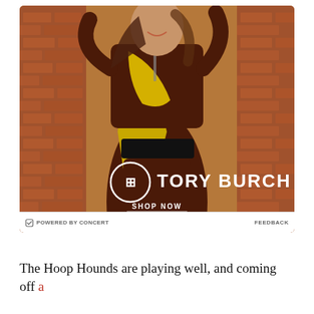[Figure (photo): Tory Burch advertisement showing a female model wearing a brown and yellow color-block long-sleeve dress outdoors against a brick wall background. The Tory Burch logo with circular emblem is overlaid in white, along with a 'SHOP NOW' call-to-action link.]
POWERED BY CONCERT   FEEDBACK
The Hoop Hounds are playing well, and coming off a